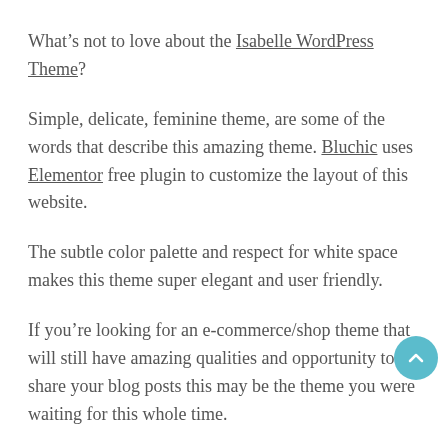What’s not to love about the Isabelle WordPress Theme?
Simple, delicate, feminine theme, are some of the words that describe this amazing theme. Bluchic uses Elementor free plugin to customize the layout of this website.
The subtle color palette and respect for white space makes this theme super elegant and user friendly.
If you’re looking for an e-commerce/shop theme that will still have amazing qualities and opportunity to share your blog posts this may be the theme you were waiting for this whole time.
What’s included in this amazing theme?